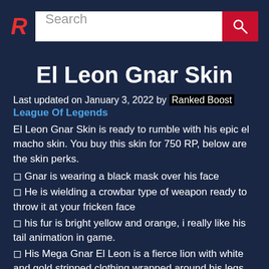Search
El Leon Gnar Skin
Last updated on January 3, 2022 by Ranked Boost
League Of Legends
El Leon Gnar Skin is ready to rumble with his epic el macho skin. You buy this skin for 750 RP, below are the skin perks.
◻ Gnar is wearing a black mask over his face
◻ He is wielding a crowbar type of weapon ready to throw it at your fricken face
◻ his fur is bright yellow and orange, i really like his tail animation in game.
◻ His Mega Gnar El Leon is a fierce lion with white and gold stripped clothing wrapped around his legs.